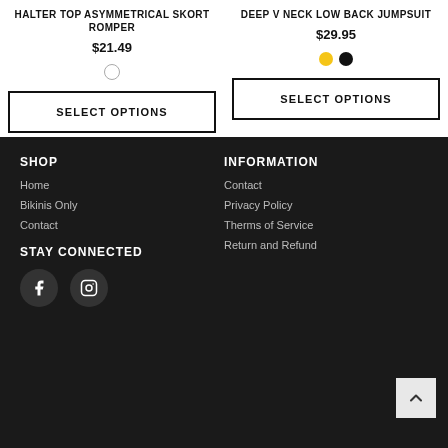HALTER TOP ASYMMETRICAL SKORT ROMPER
$21.49
DEEP V NECK LOW BACK JUMPSUIT
$29.95
SELECT OPTIONS
SELECT OPTIONS
SHOP
Home
Bikinis Only
Contact
INFORMATION
Contact
Privacy Policy
Therms of Service
Return and Refund
STAY CONNECTED